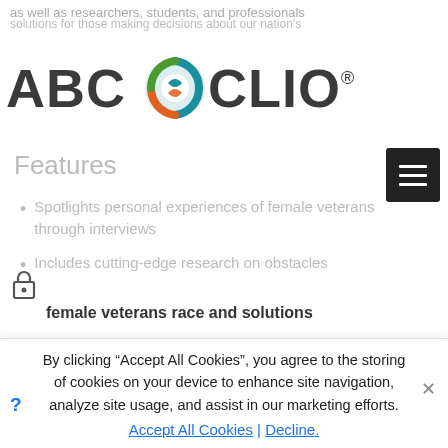as well as researchers, students, and professionals
[Figure (logo): ABC CLIO logo with circular icon featuring teal, green, and orange colors]
Features
Spotlights personal experiences of female veterans through interviews
Includes cutting-edge research on obstacles female veterans race and solutions
Addresses emotional, physical, sexual, social, and financial health issues for female veterans who are single, married, divorced, mothers, culture-diverse, mid-life, and elderly
Includes text on resilience for female veterans
By clicking “Accept All Cookies”, you agree to the storing of cookies on your device to enhance site navigation, analyze site usage, and assist in our marketing efforts.
Accept All Cookies | Decline.